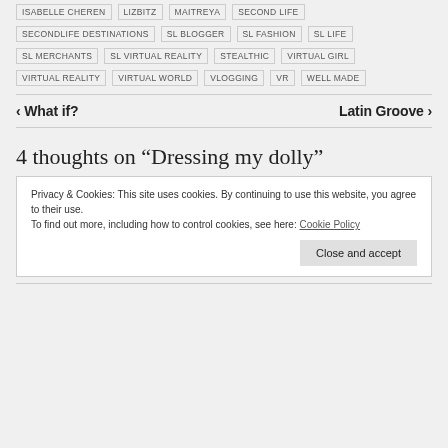ISABELLE CHEREN  LIZBITZ  MAITREYA  SECOND LIFE
SECONDLIFE DESTINATIONS  SL BLOGGER  SL FASHION  SL LIFE
SL MERCHANTS  SL VIRTUAL REALITY  STEALTHIC  VIRTUAL GIRL
VIRTUAL REALITY  VIRTUAL WORLD  VLOGGING  VR  WELL MADE
‹ What if?    Latin Groove ›
4 thoughts on “Dressing my dolly”
Privacy & Cookies: This site uses cookies. By continuing to use this website, you agree to their use.
To find out more, including how to control cookies, see here: Cookie Policy
Close and accept